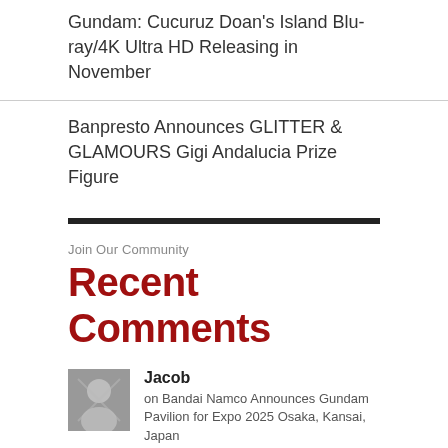Gundam: Cucuruz Doan’s Island Blu-ray/4K Ultra HD Releasing in November
Banpresto Announces GLITTER & GLAMOURS Gigi Andalucia Prize Figure
Join Our Community
Recent Comments
Jacob
on Bandai Namco Announces Gundam Pavilion for Expo 2025 Osaka, Kansai, Japan
pretty sure we can expect another cool HG RX-78-2 ver. Expo 2025 kit!